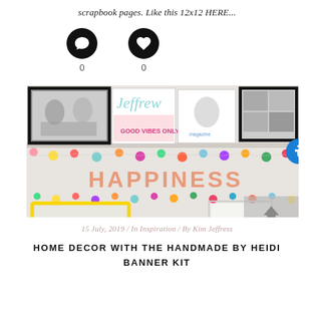scrapbook pages. Like this 12x12 HERE...
[Figure (other): Two circular icon buttons (comment bubble and heart) each with a count of 0 below them]
[Figure (photo): Photo of a home decor shelf display with colorful pom pom garlands, framed photos and art prints, and a 'HAPPINESS' banner with pink letter tiles. A yellow-framed letter board below reads 'kindness'. Colorful pom pom balls decorate the garlands.]
15 July, 2019  /  In Inspiration  /  By Kim Jeffress
HOME DECOR WITH THE HANDMADE BY HEIDI BANNER KIT